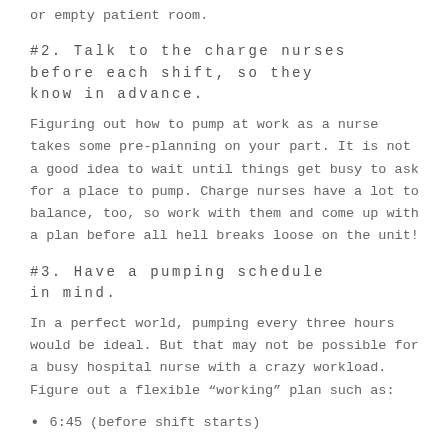or empty patient room.
#2.  Talk to the charge nurses before each shift, so they know in advance.
Figuring out how to pump at work as a nurse takes some pre-planning on your part.  It is not a good idea to wait until things get busy to ask for a place to pump.   Charge nurses have a lot to balance, too, so work with them and come up with a plan before all hell breaks loose on the unit!
#3.  Have a pumping schedule in mind.
In a perfect world, pumping every three hours would be ideal.  But that may not be possible for a busy hospital nurse with a crazy workload.  Figure out a flexible “working” plan such as:
6:45 (before shift starts)